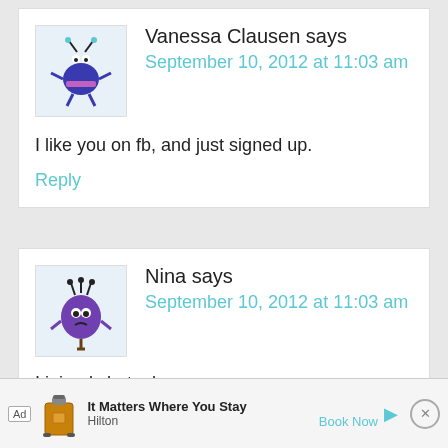Vanessa Clausen says
September 10, 2012 at 11:03 am

I like you on fb, and just signed up.

Reply
Nina says
September 10, 2012 at 11:03 am

I joined chatool...
Ad — It Matters Where You Stay — Hilton — Book Now